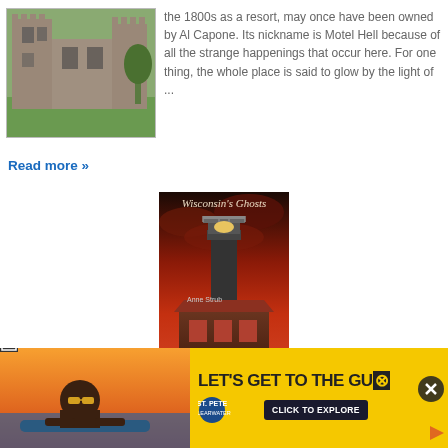[Figure (photo): Stone castle ruins with towers, green grass in foreground]
the 1800s as a resort, may once have been owned by Al Capone. Its nickname is Motel Hell because of all the strange happenings that occur here. For one thing, the whole place is said to glow by the light of ...
Read more »
[Figure (photo): Book cover: Wisconsin's Ghosts featuring a lighthouse at night with dramatic red sky]
Wisconsin's Ghosts
Sharon Strub
[Figure (photo): Advertisement banner: LET'S GET TO THE GU... St. Pete Clearwater tourism ad with woman in sunglasses at pool]